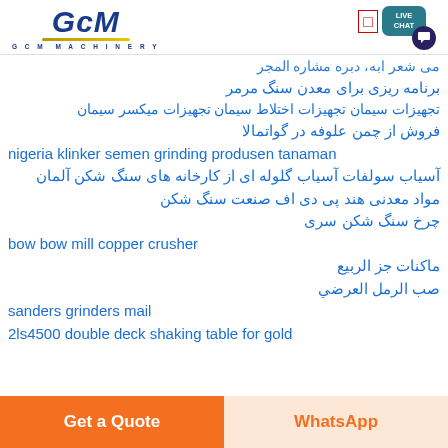[Figure (logo): GCM Machinery logo with blue stylized text and gold underline]
برنامه ریزی برای معدن سنگ مرمر
تجهیزات سیمان تجهیزات اختلاط سیمان تجهیزات میکسر سیمان
فروش از چمن علوفه در گواتمالا
nigeria klinker semen grinding produsen tanaman
آسیاب سولفات آسیاب گلوله ای از کارخانه های سنگ شکن آلمان
مواد معدنی هند پی دی اف صنعت سنگ شکن
چرخ سنگ شکن سری
bow bow mill copper crusher
ماكنات جز الربيع
صب الرمل العرضي
sanders grinders mail
2ls4500 double deck shaking table for gold
Get a Quote | WhatsApp